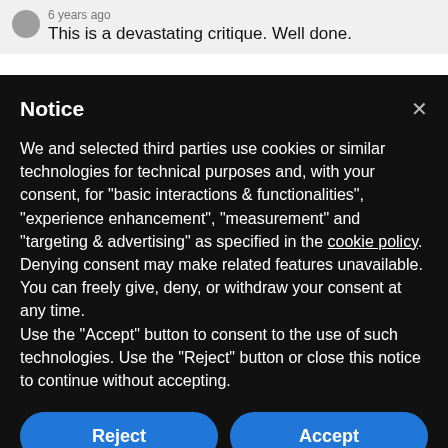6 years ago
This is a devastating critique. Well done.
Notice
We and selected third parties use cookies or similar technologies for technical purposes and, with your consent, for "basic interactions & functionalities", "experience enhancement", "measurement" and "targeting & advertising" as specified in the cookie policy. Denying consent may make related features unavailable.
You can freely give, deny, or withdraw your consent at any time.
Use the "Accept" button to consent to the use of such technologies. Use the "Reject" button or close this notice to continue without accepting.
Reject
Accept
Learn more and customize